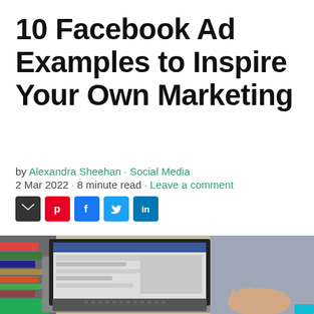10 Facebook Ad Examples to Inspire Your Own Marketing
by Alexandra Sheehan · Social Media 2 Mar 2022 · 8 minute read · Leave a comment
[Figure (photo): Person typing on a laptop showing a Facebook page, with colorful magazines/books stacked on the left and a blurred beige background. The person is wearing a grey top.]